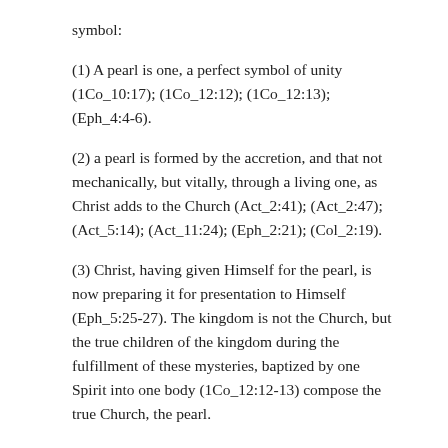symbol:
(1) A pearl is one, a perfect symbol of unity (1Co_10:17); (1Co_12:12); (1Co_12:13); (Eph_4:4-6).
(2) a pearl is formed by the accretion, and that not mechanically, but vitally, through a living one, as Christ adds to the Church (Act_2:41); (Act_2:47); (Act_5:14); (Act_11:24); (Eph_2:21); (Col_2:19).
(3) Christ, having given Himself for the pearl, is now preparing it for presentation to Himself (Eph_5:25-27). The kingdom is not the Church, but the true children of the kingdom during the fulfillment of these mysteries, baptized by one Spirit into one body (1Co_12:12-13) compose the true Church, the pearl.